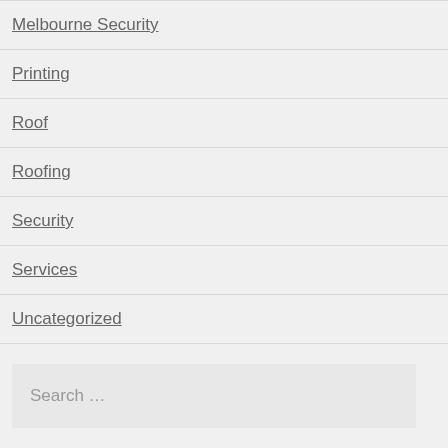Melbourne Security
Printing
Roof
Roofing
Security
Services
Uncategorized
Search …